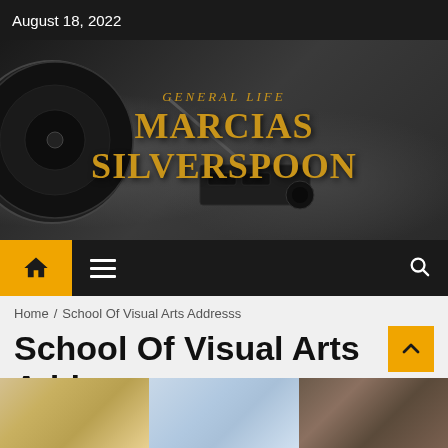August 18, 2022
[Figure (illustration): Blog header banner with dark grayscale background showing a record player/audio equipment. Overlaid text reads 'General Life' (subtitle) and 'Marcias Silverspoon' (main title) in gold/amber serif font.]
Navigation bar with home icon (yellow background), hamburger menu, and search icon
Home / School Of Visual Arts Addresss
School Of Visual Arts Addresss
[Figure (photo): Three article thumbnail images partially visible at the bottom of the page]